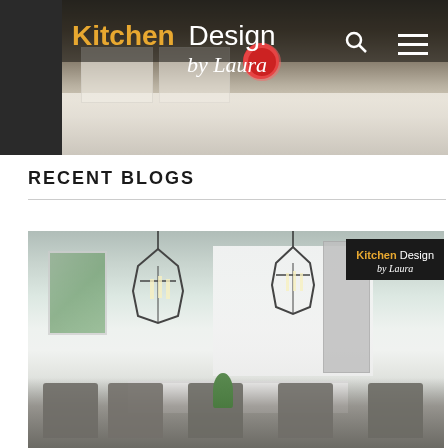Kitchen Design by Laura
[Figure (photo): Website header banner showing a kitchen interior with white cabinets and countertops, overlaid with the Kitchen Design by Laura logo, search icon, and hamburger menu]
RECENT BLOGS
[Figure (photo): Blog post thumbnail showing a modern white kitchen interior with pendant lights hanging over a dining table with gray chairs, Kitchen Design by Laura watermark in top right corner]